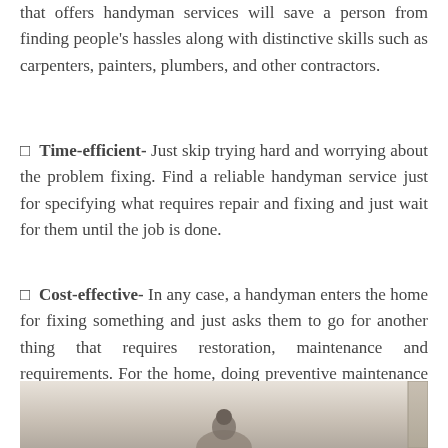that offers handyman services will save a person from finding people's hassles along with distinctive skills such as carpenters, painters, plumbers, and other contractors.
Time-efficient- Just skip trying hard and worrying about the problem fixing. Find a reliable handyman service just for specifying what requires repair and fixing and just wait for them until the job is done.
Cost-effective- In any case, a handyman enters the home for fixing something and just asks them to go for another thing that requires restoration, maintenance and requirements. For the home, doing preventive maintenance can save in the long haul a range of money.
[Figure (photo): Photo of a person (handyman) working indoors, likely on a ceiling fixture, with a window curtain visible on the right side.]